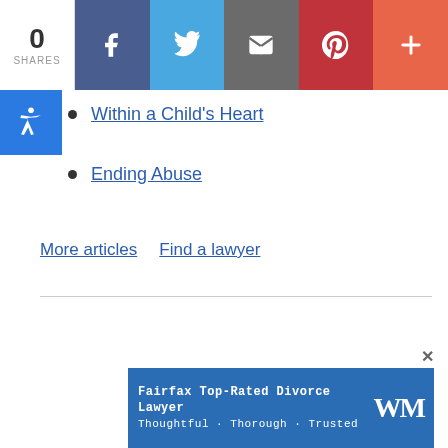[Figure (infographic): Social share bar with 0 shares, Facebook, Twitter, Email, Pinterest, and more buttons]
Within a Child's Heart
Ending Abuse
More articles    Find a lawyer
[Figure (infographic): Advertisement banner: Fairfax Top-Rated Divorce Lawyer. Thoughtful · Thorough · Trusted. WM logo.]